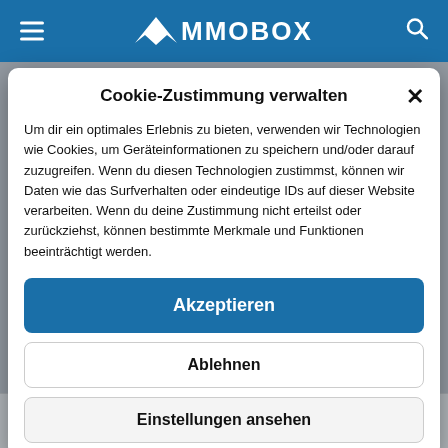MMOBOX
Cookie-Zustimmung verwalten
Um dir ein optimales Erlebnis zu bieten, verwenden wir Technologien wie Cookies, um Geräteinformationen zu speichern und/oder darauf zuzugreifen. Wenn du diesen Technologien zustimmst, können wir Daten wie das Surfverhalten oder eindeutige IDs auf dieser Website verarbeiten. Wenn du deine Zustimmung nicht erteilst oder zurückziehst, können bestimmte Merkmale und Funktionen beeinträchtigt werden.
Akzeptieren
Ablehnen
Einstellungen ansehen
Weapons of Victory – Tracks of Victory